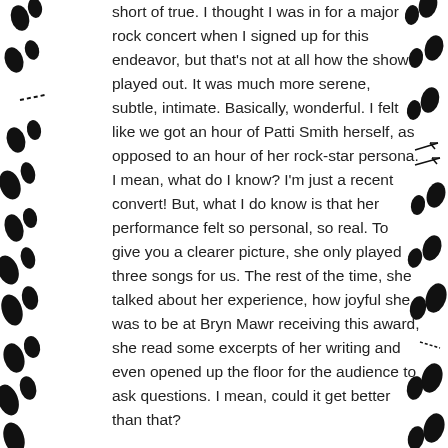short of true. I thought I was in for a major rock concert when I signed up for this endeavor, but that's not at all how the show played out. It was much more serene, subtle, intimate. Basically, wonderful. I felt like we got an hour of Patti Smith herself, as opposed to an hour of her rock-star persona. I mean, what do I know? I'm just a recent convert! But, what I do know is that her performance felt so personal, so real. To give you a clearer picture, she only played three songs for us. The rest of the time, she talked about her experience, how joyful she was to be at Bryn Mawr receiving this award, she read some excerpts of her writing and even opened up the floor for the audience to ask questions. I mean, could it get better than that?
Little by little I found myself getting more fascinated, intrigued, and drawn-in to the person standing in front of me on that stage, and the feeling just increased as the evening went on. Before the event, I had no expectations. I came in with a blank page in my mind, letting the experience write itself naturally in my brain, letting it sink in my body, and allowing it to permeate into